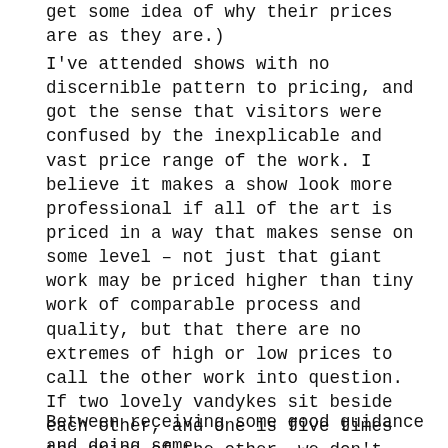get some idea of why their prices are as they are.)
I've attended shows with no discernible pattern to pricing, and got the sense that visitors were confused by the inexplicable and vast price range of the work. I believe it makes a show look more professional if all of the art is priced in a way that makes sense on some level – not just that giant work may be priced higher than tiny work of comparable process and quality, but that there are no extremes of high or low prices to call the other work into question. If two lovely vandykes sit beside each other, and one is five times the price of the other, we don't want a buyer to think the higher priced one is a rip-off, nor that there is something wrong with the lower priced one to make it such a bargain!  If the prices are so different because one of the artists has work in the Getty collection and the other is a newbie, this should ideally be disclosed.
Between receiving some good guidance and doing some